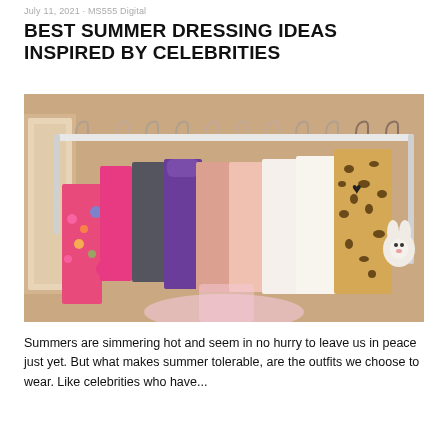July 11, 2021 · MS555 Digital
BEST SUMMER DRESSING IDEAS INSPIRED BY CELEBRITIES
[Figure (photo): A clothing rack with various colorful garments hanging on it including floral dresses, pink and purple sweaters, white fuzzy sweaters, and a leopard print coat, against a beige wall.]
Summers are simmering hot and seem in no hurry to leave us in peace just yet. But what makes summer tolerable, are the outfits we choose to wear. Like celebrities who have...